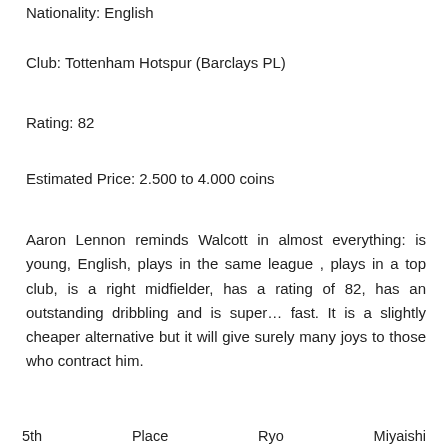Nationality: English
Club: Tottenham Hotspur (Barclays PL)
Rating: 82
Estimated Price: 2.500 to 4.000 coins
Aaron Lennon reminds Walcott in almost everything: is young, English, plays in the same league , plays in a top club, is a right midfielder, has a rating of 82, has an outstanding dribbling and is super… fast. It is a slightly cheaper alternative but it will give surely many joys to those who contract him.
5th    Place    Ryo    Miyaishi